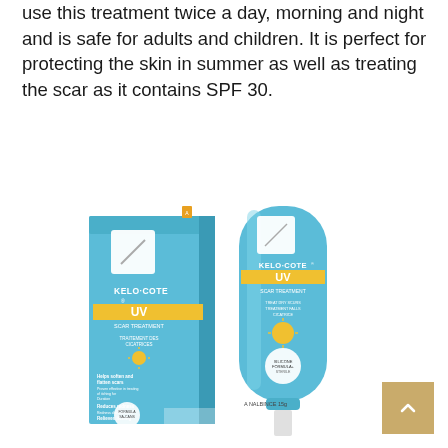use this treatment twice a day, morning and night and is safe for adults and children. It is perfect for protecting the skin in summer as well as treating the scar as it contains SPF 30.
[Figure (photo): Kelo-Cote UV Scar Treatment product photo showing the blue box packaging and the blue tube with white applicator tip. The box shows product name KELO-COTE UV SCAR TREATMENT with bullet points listing benefits including helping soften and flatten scars, reducing redness, and relieving itching. The tube is 15g.]